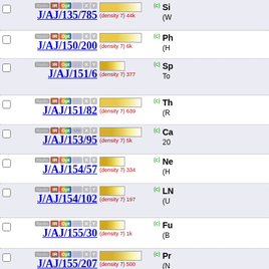J/AJ/135/785 (density 7) 44k (c) Si... (W...
J/AJ/150/200 (density 7) 6k (c) Ph... (H...
J/AJ/151/6 (density 7) 377 (c) Sp... To...
J/AJ/151/82 (density 7) 639 (c) Th... (R...
J/AJ/153/95 (density 7) 5k (c) Ca... 20...
J/AJ/154/57 (density 7) 334 (c) Ne... (H...
J/AJ/154/102 (density 7) 197 (c) LN... (U...
J/AJ/155/30 (density 7) 1k (c) Fu... (B...
J/AJ/155/207 (density 7) 500 (c) Pr... (N...
J/AJ/156/37 (density 7) 85 (c) Ph... (A...